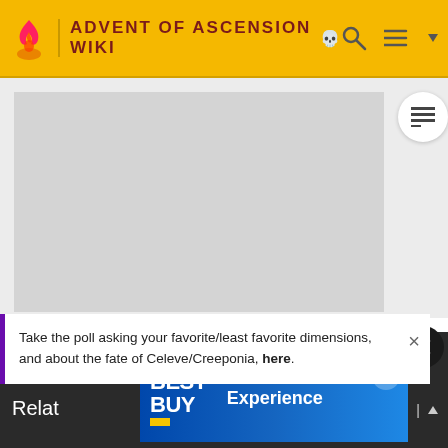ADVENT OF ASCENSION WIKI
[Figure (screenshot): Large gray advertisement placeholder box]
Take the poll asking your favorite/least favorite dimensions, and about the fate of Celeve/Creeponia, here.
[Figure (screenshot): Best Buy advertisement banner with blue gradient background showing Best Buy logo and 'Experience' text]
Relat